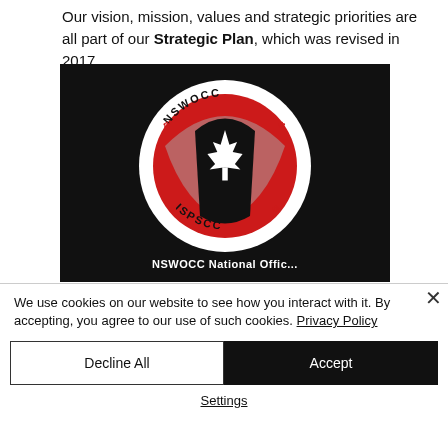Our vision, mission, values and strategic priorities are all part of our Strategic Plan, which was revised in 2017.
[Figure (logo): NSWOCC / ISPSCC logo: circular badge with a maple leaf, red and black design, on a black background. Partial text 'NSWOCC National Offic...' visible at bottom.]
We use cookies on our website to see how you interact with it. By accepting, you agree to our use of such cookies. Privacy Policy
Decline All
Accept
Settings